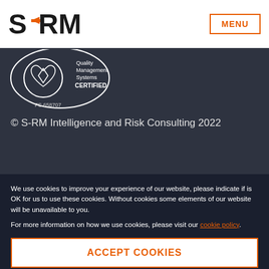[Figure (logo): S-RM company logo in black bold text with orange arrow accent]
MENU
[Figure (logo): Quality Management Systems CERTIFIED FS 658707 certification badge with heart/shield emblem]
© S-RM Intelligence and Risk Consulting 2022
We use cookies to improve your experience of our website, please indicate if is OK for us to use these cookies. Without cookies some elements of our website will be unavailable to you.
For more information on how we use cookies, please visit our cookie policy.
ACCEPT COOKIES